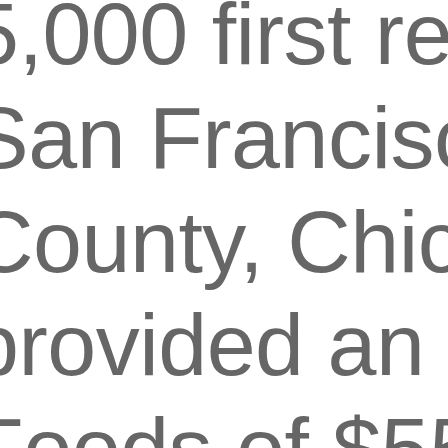5,000 first resp San Francisco, County, Chicago provided an ini Foods of $55,0 responder mea